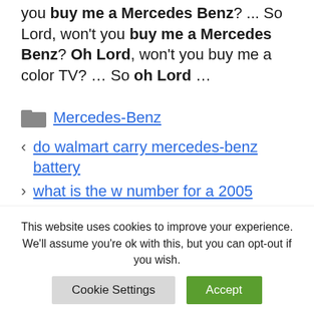you buy me a Mercedes Benz? ... So Lord, won't you buy me a Mercedes Benz? Oh Lord, won't you buy me a color TV? ... So oh Lord ...
Mercedes-Benz
< do walmart carry mercedes-benz battery
> what is the w number for a 2005 mercedes benz sl500
This website uses cookies to improve your experience. We'll assume you're ok with this, but you can opt-out if you wish.